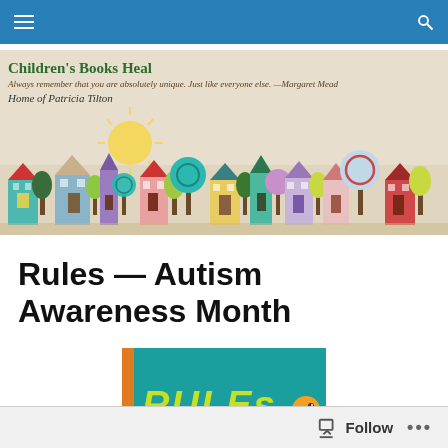Navigation bar with hamburger menu and search icon
[Figure (screenshot): Children's Books Heal website banner with colorful illustrated houses, trees, sun. Title: Children's Books Heal. Quote: Always remember that you are absolutely unique. Just like everyone else. —Margaret Mead. Subtitle: Home of Patricia Tilton]
Rules — Autism Awareness Month
[Figure (photo): Book cover for 'Rules' showing yellow/green stylized text 'RULEs' on teal background with an orange rubber duck]
Follow  ...